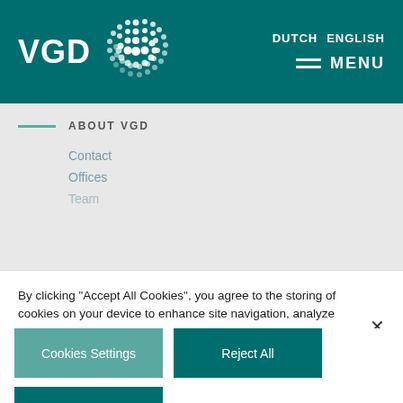VGD | DUTCH  ENGLISH | MENU
ABOUT VGD
Contact
Offices
Team
By clicking “Accept All Cookies”, you agree to the storing of cookies on your device to enhance site navigation, analyze site usage, and assist in our marketing efforts.
Cookies Settings
Reject All
Accept All Cookies